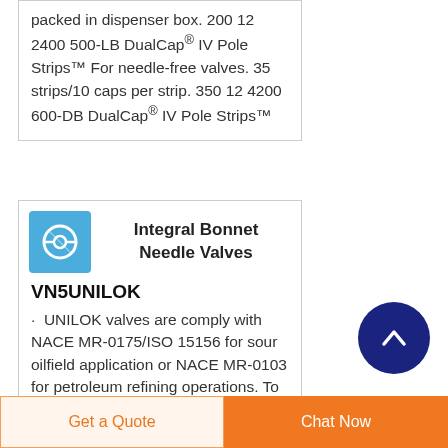packed in dispenser box. 200 12 2400 500-LB DualCap® IV Pole Strips™ For needle-free valves. 35 strips/10 caps per strip. 350 12 4200 600-DB DualCap® IV Pole Strips™
[Figure (illustration): Blue square icon with a circular valve/bonnet graphic in white]
Integral Bonnet Needle Valves
VN5UNILOK
UNILOK valves are comply with NACE MR-0175/ISO 15156 for sour oilfield application or NACE MR-0103 for petroleum refining operations. To order, add-N to
[Figure (illustration): Dark navy blue circular scroll-to-top button with an upward arrow]
Get a Quote   Chat Now